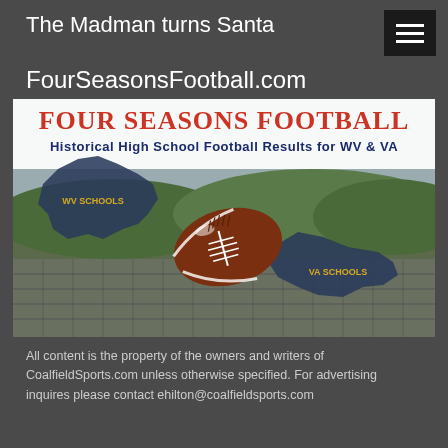The Madman turns Santa
FourSeasonsFootball.com
[Figure (illustration): Four Seasons Football banner image showing a football stadium background with state silhouettes of West Virginia (labeled WV SCHOOLS) and Virginia (labeled VA SCHOOLS), a football in the center, with text 'FOUR SEASONS FOOTBALL' in red/orange at top and 'Historical High School Football Results for WV & VA' below it]
All content is the property of the owners and writers of CoalfieldSports.com unless otherwise specified. For advertising inquires please contact ehilton@coalfieldsports.com